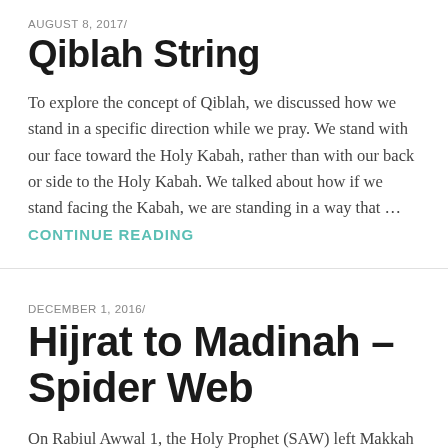AUGUST 8, 2017/
Qiblah String
To explore the concept of Qiblah, we discussed how we stand in a specific direction while we pray. We stand with our face toward the Holy Kabah, rather than with our back or side to the Holy Kabah. We talked about how if we stand facing the Kabah, we are standing in a way that … CONTINUE READING
DECEMBER 1, 2016/
Hijrat to Madinah – Spider Web
On Rabiul Awwal 1, the Holy Prophet (SAW) left Makkah to migrate to Madinah to escape persecution by the